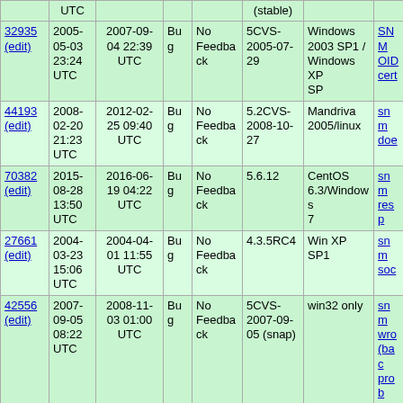| ID | Created | Updated | Type | Status | Version | OS | Summary |
| --- | --- | --- | --- | --- | --- | --- | --- |
| 32935 (edit) | 2005-05-03 23:24 UTC | 2007-09-04 22:39 UTC | Bug | No Feedback | 5CVS-2005-07-29 | Windows 2003 SP1 / Windows XP SP | SNM OID cert... |
| 44193 (edit) | 2008-02-20 21:23 UTC | 2012-02-25 09:40 UTC | Bug | No Feedback | 5.2CVS-2008-10-27 | Mandriva 2005/linux | snm doe... |
| 70382 (edit) | 2015-08-28 13:50 UTC | 2016-06-19 04:22 UTC | Bug | No Feedback | 5.6.12 | CentOS 6.3/Windows 7 | snm resp... |
| 27661 (edit) | 2004-03-23 15:06 UTC | 2004-04-01 11:55 UTC | Bug | No Feedback | 4.3.5RC4 | Win XP SP1 | snm soc... |
| 42556 (edit) | 2007-09-05 08:22 UTC | 2008-11-03 01:00 UTC | Bug | No Feedback | 5CVS-2007-09-05 (snap) | win32 only | snm wro... (bac... prob... |
| 45095 (edit) | 2008-05-26 17:44 UTC | 2008-11-29 01:00 UTC | Bug | No Feedback | 5.2.6 | * | snm the ... |
| 23321 (edit) | 2003-04-23 | 2003-04-29 10:21 | Bug | No Feedback | 4.3.1 | FreeBSD 4.7-RELEASE- | snm resp... |